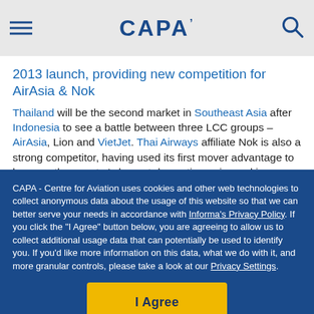CAPA
2013 launch, providing new competition for AirAsia & Nok
Thailand will be the second market in Southeast Asia after Indonesia to see a battle between three LCC groups – AirAsia, Lion and VietJet. Thai Airways affiliate Nok is also a strong competitor, having used its first mover advantage to become the country's largest domestic carrier and is now pursuing fleet and international expansion using proceeds from its recent initial public offering.
CAPA - Centre for Aviation uses cookies and other web technologies to collect anonymous data about the usage of this website so that we can better serve your needs in accordance with Informa's Privacy Policy. If you click the "I Agree" button below, you are agreeing to allow us to collect additional usage data that can potentially be used to identify you. If you'd like more information on this data, what we do with it, and more granular controls, please take a look at our Privacy Settings.